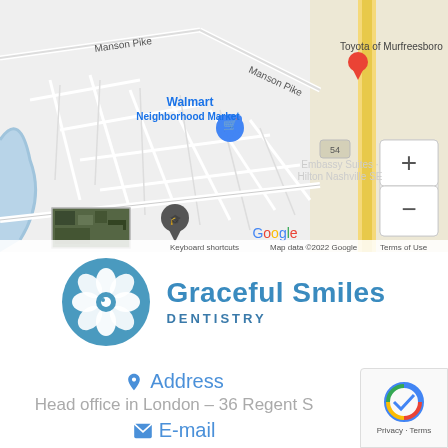[Figure (map): Google Maps screenshot showing area around Manson Pike in Murfreesboro, TN. Walmart Neighborhood Market marked with blue pin. Toyota of Murfreesboro visible top right. Embassy Suites Hilton Nashville SE partially visible. Map data ©2022 Google. Zoom +/- controls visible. Keyboard shortcuts and Terms of Use links at bottom.]
[Figure (logo): Graceful Smiles Dentistry logo — blue circle with white flower icon on left, company name in blue on right]
Address
Head office in London – 36 Regent S…
E-mail